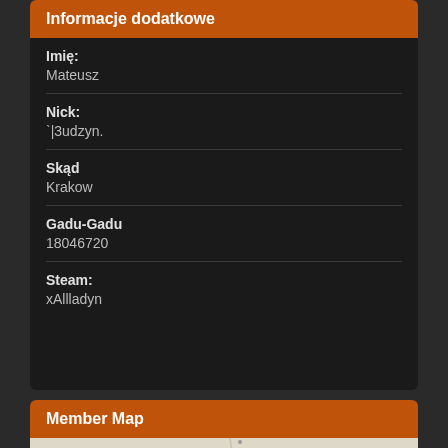Informacje dodatkowe
Imię:
Mateusz
Nick:
`|3udzyn.
Skąd
Krakow
Gadu-Gadu
18046720
Steam:
xAllladyn
Member Map
[Figure (map): Map of Poland showing Lodz, Wroclaw, Lublin with zoom controls and layer switcher]